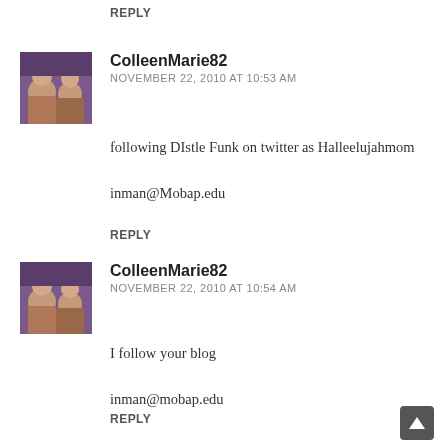REPLY
ColleenMarie82
NOVEMBER 22, 2010 AT 10:53 AM
following DIstle Funk on twitter as Halleelujahmom

inman@Mobap.edu
REPLY
[Figure (photo): Avatar photo of ColleenMarie82 showing children]
ColleenMarie82
NOVEMBER 22, 2010 AT 10:54 AM
I follow your blog

inman@mobap.edu
REPLY
[Figure (photo): Avatar photo of ColleenMarie82 showing children]
Stacy
NOVEMBER 22, 2010 AT 2:31 PM
I love the nativity stamp and the man in the moon
[Figure (logo): Blogger orange circle logo icon for Stacy]